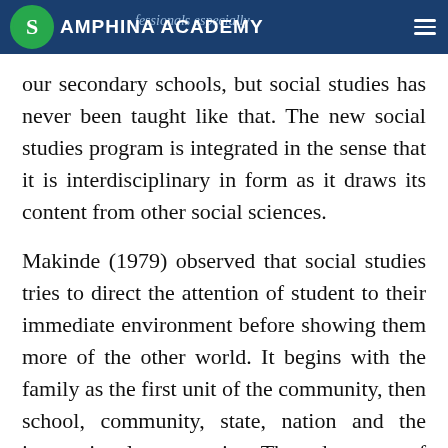SAMPHINA ACADEMY
our secondary schools, but social studies has never been taught like that. The new social studies program is integrated in the sense that it is interdisciplinary in form as it draws its content from other social sciences.
Makinde (1979) observed that social studies tries to direct the attention of student to their immediate environment before showing them more of the other world. It begins with the family as the first unit of the community, then school, community, state, nation and the international community. The advantage of this system is that, it promotes greater